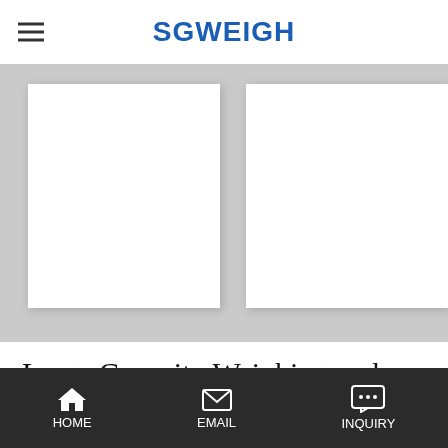SGWEIGH
[Figure (photo): Two white product images (large capacity weighing and filling machine) shown side by side on a grey background]
Large Capacity Weighing and Filling Machine
The large capacity weighing and filling machine adopts the microcomputer control method and is made of high-quality stainless steel. The
HOME   EMAIL   INQUIRY